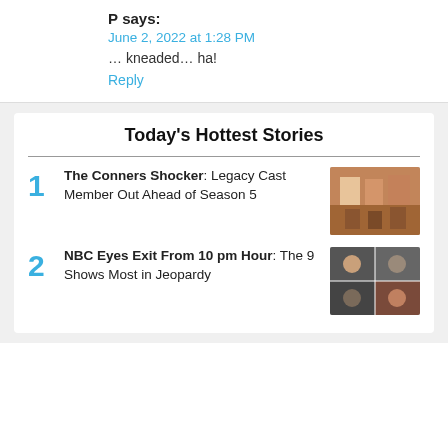P says:
June 2, 2022 at 1:28 PM
… kneaded… ha!
Reply
Today's Hottest Stories
1 The Conners Shocker: Legacy Cast Member Out Ahead of Season 5
2 NBC Eyes Exit From 10 pm Hour: The 9 Shows Most in Jeopardy